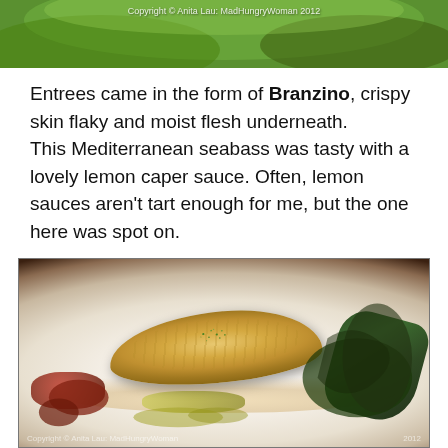[Figure (photo): Top portion of a food photo showing green leafy garnish with copyright watermark reading 'Copyright © Anita Lau: MadHungryWoman 2012']
Entrees came in the form of Branzino, crispy skin flaky and moist flesh underneath.
This Mediterranean seabass was tasty with a lovely lemon caper sauce. Often, lemon sauces aren't tart enough for me, but the one here was spot on.
[Figure (photo): Photo of a Branzino (Mediterranean seabass) dish plated on a white oval plate with crispy golden skin, garnished with chives, served with a lemon caper sauce, roasted potatoes, leeks, and dark leafy greens. Copyright © Anita Lau: MadHungryWoman 2012.]